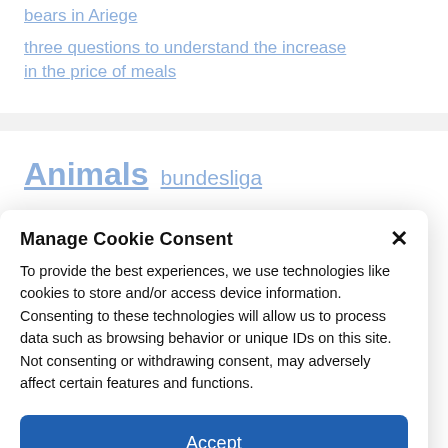bears in Ariege
three questions to understand the increase in the price of meals
Animals  bundesliga
Manage Cookie Consent
To provide the best experiences, we use technologies like cookies to store and/or access device information. Consenting to these technologies will allow us to process data such as browsing behavior or unique IDs on this site. Not consenting or withdrawing consent, may adversely affect certain features and functions.
Accept
Cookie Policy